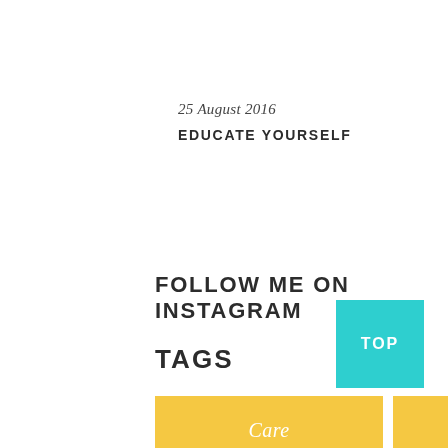25 August 2016
EDUCATE YOURSELF
FOLLOW ME ON INSTAGRAM
TAGS
Care
Colors
Design
Fun
[Figure (other): Cyan TOP button in bottom right corner]